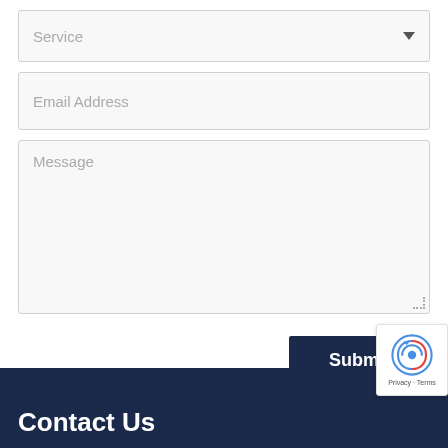[Figure (screenshot): Web contact form with Service dropdown, Email Address field, Message textarea, and Submit button]
Service
Email Address
Message
Submit
Contact Us
[Figure (other): reCAPTCHA badge showing robot icon with Privacy and Terms links]